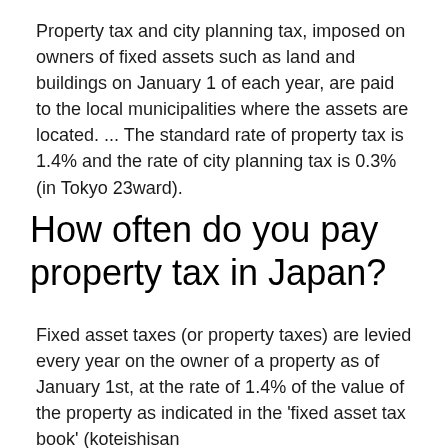Property tax and city planning tax, imposed on owners of fixed assets such as land and buildings on January 1 of each year, are paid to the local municipalities where the assets are located. ... The standard rate of property tax is 1.4% and the rate of city planning tax is 0.3% (in Tokyo 23ward).
How often do you pay property tax in Japan?
Fixed asset taxes (or property taxes) are levied every year on the owner of a property as of January 1st, at the rate of 1.4% of the value of the property as indicated in the 'fixed asset tax book' (koteishisan